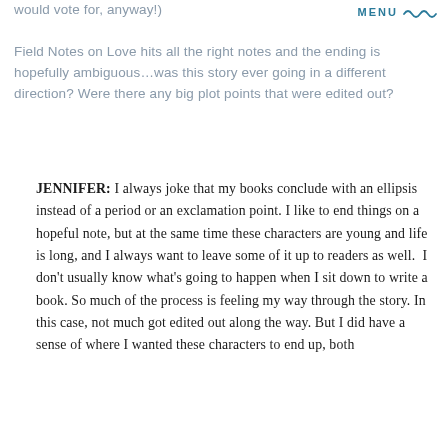MENU
Field Notes on Love hits all the right notes and the ending is hopefully ambiguous…was this story ever going in a different direction? Were there any big plot points that were edited out?
JENNIFER: I always joke that my books conclude with an ellipsis instead of a period or an exclamation point. I like to end things on a hopeful note, but at the same time these characters are young and life is long, and I always want to leave some of it up to readers as well.  I don't usually know what's going to happen when I sit down to write a book. So much of the process is feeling my way through the story. In this case, not much got edited out along the way. But I did have a sense of where I wanted these characters to end up, both